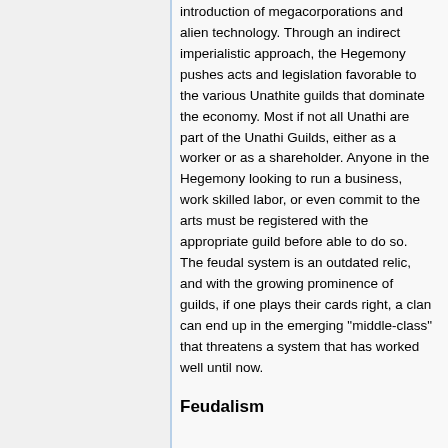introduction of megacorporations and alien technology. Through an indirect imperialistic approach, the Hegemony pushes acts and legislation favorable to the various Unathite guilds that dominate the economy. Most if not all Unathi are part of the Unathi Guilds, either as a worker or as a shareholder. Anyone in the Hegemony looking to run a business, work skilled labor, or even commit to the arts must be registered with the appropriate guild before able to do so. The feudal system is an outdated relic, and with the growing prominence of guilds, if one plays their cards right, a clan can end up in the emerging "middle-class" that threatens a system that has worked well until now.
Feudalism